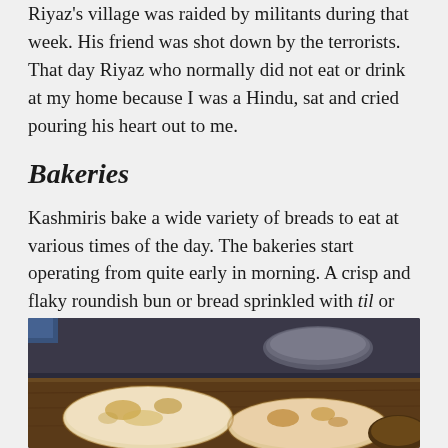Riyaz's village was raided by militants during that week. His friend was shot down by the terrorists. That day Riyaz who normally did not eat or drink at my home because I was a Hindu, sat and cried pouring his heart out to me.
Bakeries
Kashmiris bake a wide variety of breads to eat at various times of the day. The bakeries start operating from quite early in morning. A crisp and flaky roundish bun or bread sprinkled with til or sesame and khuskhus, poppy seeds is called tsot. Baqerkhani and lavas are different breads. Kulcha which is more like flat bread or chapati in size and shape is usually eaten during meal time with gravies.
[Figure (photo): Photo of flatbreads (kulcha/naan type breads) on a wooden surface with a round stone or metal surface visible in the background, outdoor bakery setting]